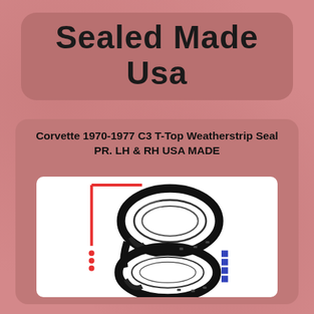Sealed Made Usa
Corvette 1970-1977 C3 T-Top Weatherstrip Seal PR. LH & RH USA MADE
[Figure (photo): Product photo of two black rubber T-top weatherstrip seals for Corvette, coiled on a white background with red L-shaped line decoration on left and blue vertical rectangles on right]